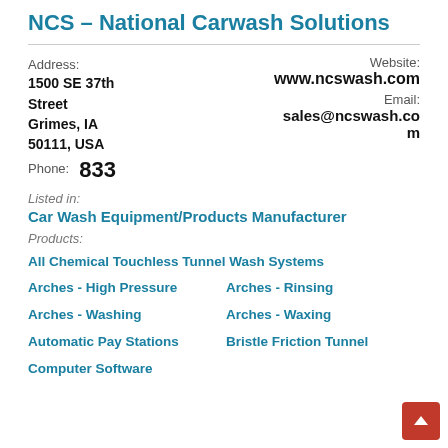NCS – National Carwash Solutions
Address: 1500 SE 37th Street Grimes, IA 50111, USA | Website: www.ncswash.com | Email: sales@ncswash.com
Phone: 833
Listed in:
Car Wash Equipment/Products Manufacturer
Products:
All Chemical Touchless Tunnel Wash Systems
Arches - High Pressure
Arches - Rinsing
Arches - Washing
Arches - Waxing
Automatic Pay Stations
Bristle Friction Tunnel
Computer Software